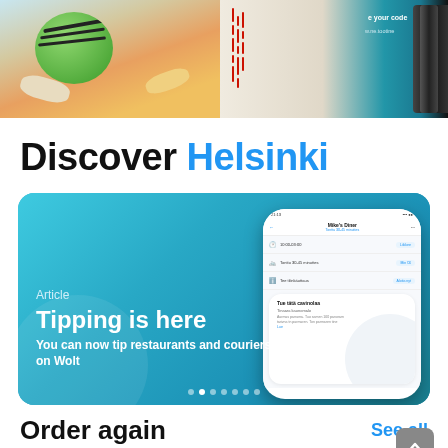[Figure (screenshot): Two app or product screenshots side by side at the top: left shows a 3D watermelon character, right shows barcode/packaging design with blue background]
Discover Helsinki
[Figure (screenshot): Article card with blue background showing Wolt app. Text: Article, Tipping is here, You can now tip restaurants and couriers on Wolt. Right side shows a phone mockup with the Wolt app open showing Mike's Diner restaurant page.]
Order again
See all